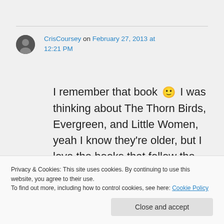CrisCoursey on February 27, 2013 at 12:21 PM
I remember that book 🙂 I was thinking about The Thorn Birds, Evergreen, and Little Women, yeah I know they're older, but I love the books that follow the characters. If there's too much going on, I'll admit
Privacy & Cookies: This site uses cookies. By continuing to use this website, you agree to their use. To find out more, including how to control cookies, see here: Cookie Policy
Close and accept